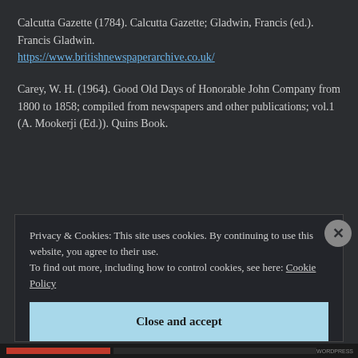Calcutta Gazette (1784). Calcutta Gazette; Gladwin, Francis (ed.). Francis Gladwin. https://www.britishnewspaperarchive.co.uk/
Carey, W. H. (1964). Good Old Days of Honorable John Company from 1800 to 1858; compiled from newspapers and other publications; vol.1 (A. Mookerji (Ed.)). Quins Book.
Privacy & Cookies: This site uses cookies. By continuing to use this website, you agree to their use. To find out more, including how to control cookies, see here: Cookie Policy
Close and accept